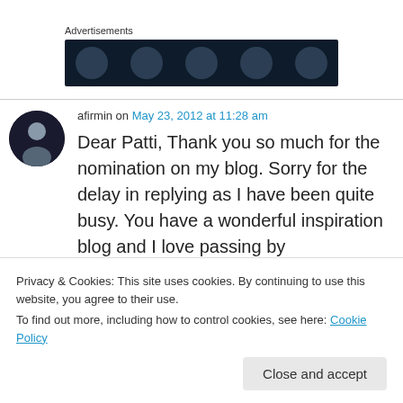Advertisements
[Figure (other): Dark advertisement banner with circular dot decorations]
afirmin on May 23, 2012 at 11:28 am
Dear Patti, Thank you so much for the nomination on my blog. Sorry for the delay in replying as I have been quite busy. You have a wonderful inspiration blog and I love passing by
Privacy & Cookies: This site uses cookies. By continuing to use this website, you agree to their use.
To find out more, including how to control cookies, see here: Cookie Policy